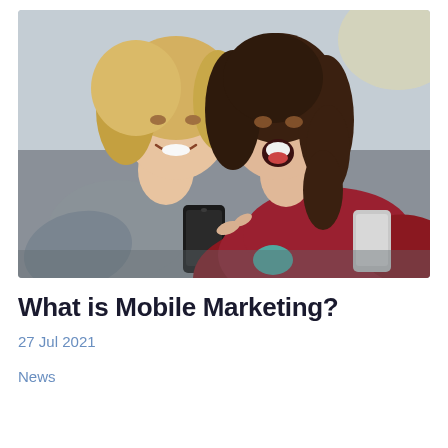[Figure (photo): Two young women looking at smartphones together, smiling and reacting excitedly. One woman has blonde hair wearing a grey sweater, holding a black phone. The other has dark/brunette hair wearing a red knit sweater, holding a silver phone. They appear to be outdoors.]
What is Mobile Marketing?
27 Jul 2021
News